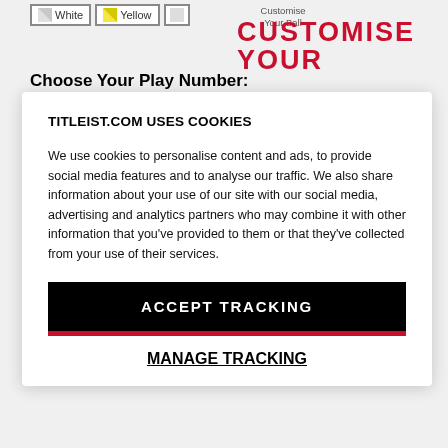[Figure (screenshot): Color selection buttons showing White and Yellow options with small thumbnail images, partially visible third option]
Customise Your Ball
CUSTOMISE YOUR
Choose Your Play Number:
TITLEIST.COM USES COOKIES
We use cookies to personalise content and ads, to provide social media features and to analyse our traffic. We also share information about your use of our site with our social media, advertising and analytics partners who may combine it with other information that you've provided to them or that they've collected from your use of their services.
ACCEPT TRACKING
MANAGE TRACKING